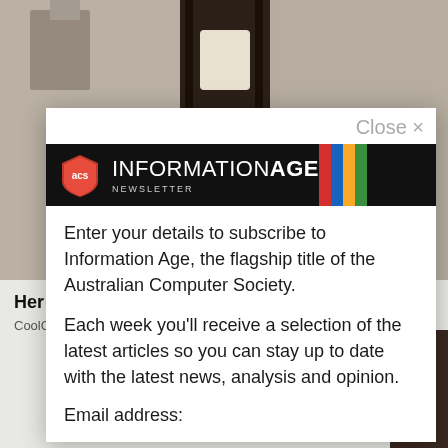[Figure (screenshot): Background photo of a wall-mounted outdoor light fixture]
Here
CoolG
[Figure (screenshot): Modal popup for Information Age Newsletter subscription. Contains ACS logo and colored vertical bars banner. Text: Enter your details to subscribe to Information Age, the flagship title of the Australian Computer Society. Each week you'll receive a selection of the latest articles so you can stay up to date with the latest news, analysis and opinion. Email address:]
Close ×
Enter your details to subscribe to Information Age, the flagship title of the Australian Computer Society.
Each week you'll receive a selection of the latest articles so you can stay up to date with the latest news, analysis and opinion.
Email address: